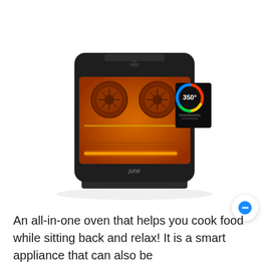[Figure (photo): Front view of a June smart oven/toaster oven with a dark body, glass front door showing orange-lit interior with two circular fan vents and a rack, and a circular touch display on the right side showing 350 degrees with a colorful arc indicator.]
An all-in-one oven that helps you cook food while sitting back and relax! It is a smart appliance that can also be